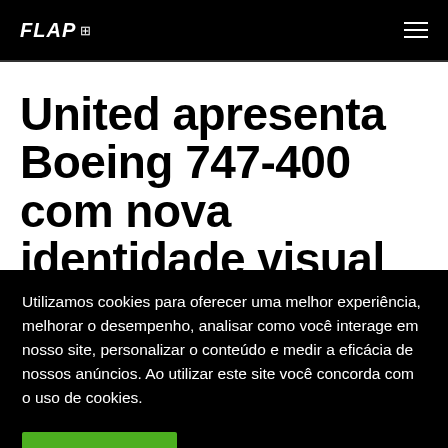FLAP [icon] — hamburger menu
United apresenta Boeing 747-400 com nova identidade visual
Utilizamos cookies para oferecer uma melhor experiência, melhorar o desempenho, analisar como você interage em nosso site, personalizar o conteúdo e medir a eficácia de nossos anúncios. Ao utilizar este site você concorda com o uso de cookies.
Aceitar